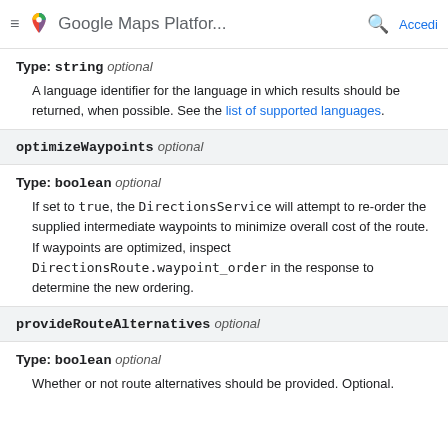Google Maps Platfor... Accedi
Type: string optional
A language identifier for the language in which results should be returned, when possible. See the list of supported languages.
optimizeWaypoints optional
Type: boolean optional
If set to true, the DirectionsService will attempt to re-order the supplied intermediate waypoints to minimize overall cost of the route. If waypoints are optimized, inspect DirectionsRoute.waypoint_order in the response to determine the new ordering.
provideRouteAlternatives optional
Type: boolean optional
Whether or not route alternatives should be provided. Optional.